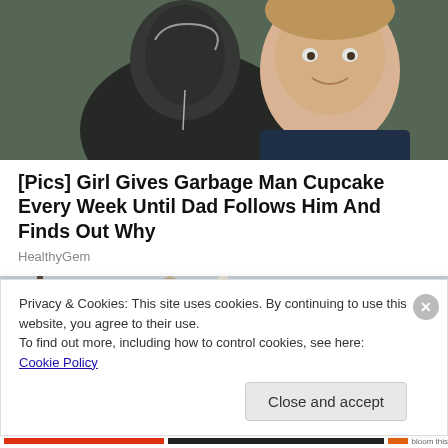[Figure (photo): Top portion of an article image showing a person and a child, partially cropped]
[Pics] Girl Gives Garbage Man Cupcake Every Week Until Dad Follows Him And Finds Out Why
HealthyGem
[Figure (photo): Photo of a house with tan/beige horizontal siding, white trim, a window, and bare trees in background against a grey sky]
Privacy & Cookies: This site uses cookies. By continuing to use this website, you agree to their use.
To find out more, including how to control cookies, see here: Cookie Policy
Close and accept